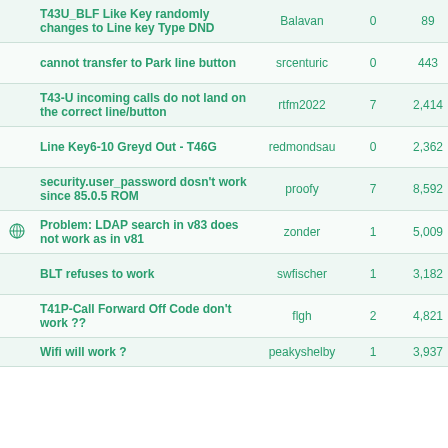|  | Topic | Author | Replies | Views | Last Post |
| --- | --- | --- | --- | --- | --- |
|  | T43U_BLF Like Key randomly changes to Line key Type DND | Balavan | 0 | 89 | 08-19-2022
Last Post: B |
|  | cannot transfer to Park line button | srcenturic | 0 | 443 | 06-10-2022
Last Post: s |
|  | T43-U incoming calls do not land on the correct line/button | rtfm2022 | 7 | 2,414 | 05-12-2022
Last Post: rt |
|  | Line Key6-10 Greyd Out - T46G | redmondsau | 0 | 2,362 | 10-02-2020
Last Post: re |
|  | security.user_password dosn't work since 85.0.5 ROM | proofy | 7 | 8,592 | 09-29-2020
Last Post: D |
| globe | Problem: LDAP search in v83 does not work as in v81 | zonder | 1 | 5,009 | 09-23-2020
Last Post: p |
|  | BLT refuses to work | swfischer | 1 | 3,182 | 09-21-2020
Last Post: c |
|  | T41P-Call Forward Off Code don't work ?? | flgh | 2 | 4,821 | 03-05-2020
Last Post: jo |
|  | Wifi will work ? | peakyshelby | 1 | 3,937 | 12-16-2019 |